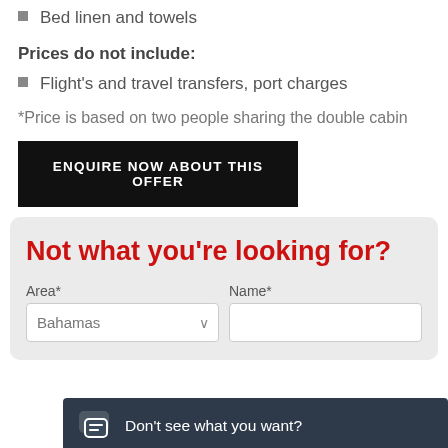Bed linen and towels
Prices do not include:
Flight's and travel transfers, port charges
*Price is based on two people sharing the double cabin
ENQUIRE NOW ABOUT THIS OFFER
Not what you're looking for?
Area*
Name*
Bahamas
Don't see what you want?